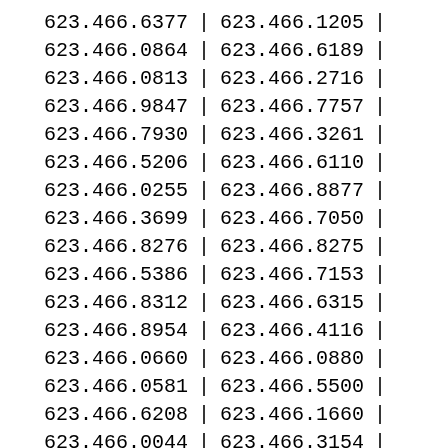| col1 | pipe | col2 | pipe2 |
| --- | --- | --- | --- |
| 623.466.6377 | | | 623.466.1205 | | |
| 623.466.0864 | | | 623.466.6189 | | |
| 623.466.0813 | | | 623.466.2716 | | |
| 623.466.9847 | | | 623.466.7757 | | |
| 623.466.7930 | | | 623.466.3261 | | |
| 623.466.5206 | | | 623.466.6110 | | |
| 623.466.0255 | | | 623.466.8877 | | |
| 623.466.3699 | | | 623.466.7050 | | |
| 623.466.8276 | | | 623.466.8275 | | |
| 623.466.5386 | | | 623.466.7153 | | |
| 623.466.8312 | | | 623.466.6315 | | |
| 623.466.8954 | | | 623.466.4116 | | |
| 623.466.0660 | | | 623.466.0880 | | |
| 623.466.0581 | | | 623.466.5500 | | |
| 623.466.6208 | | | 623.466.1660 | | |
| 623.466.0044 | | | 623.466.3154 | | |
| 623.466.2235 | | | 623.466.4812 | | |
| 623.466.2406 | | | 623.466.1895 | | |